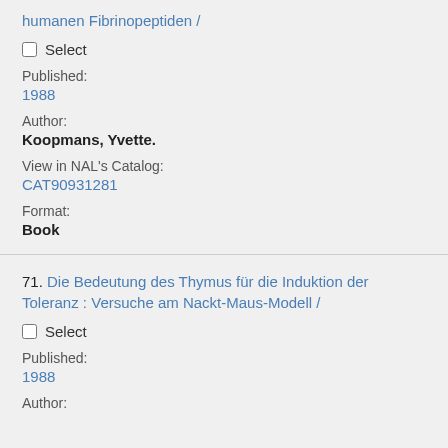humanen Fibrinopeptiden /
Select
Published: 1988
Author: Koopmans, Yvette.
View in NAL's Catalog: CAT90931281
Format: Book
71. Die Bedeutung des Thymus für die Induktion der Toleranz : Versuche am Nackt-Maus-Modell /
Select
Published: 1988